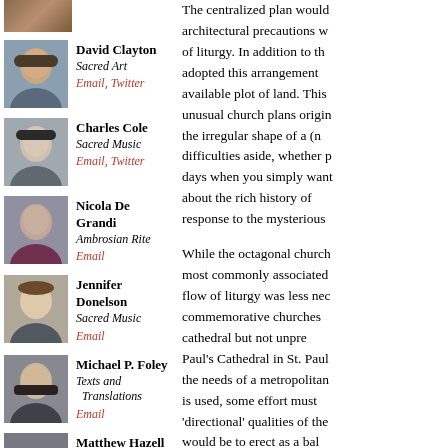[Figure (photo): Partial photo at top of left column]
David Clayton
Sacred Art
Email, Twitter
Charles Cole
Sacred Music
Email, Twitter
Nicola De Grandi
Ambrosian Rite
Email
Jennifer Donelson
Sacred Music
Email
Michael P. Foley
Texts and Translations
Email
Matthew Hazell
The centralized plan would architectural precautions w of liturgy. In addition to th adopted this arrangement available plot of land. This unusual church plans origin the irregular shape of a (n difficulties aside, whether p days when you simply want about the rich history of response to the mysterious
While the octagonal church most commonly associated flow of liturgy was less nec commemorative churches cathedral but not unpre Paul's Cathedral in St. Paul the needs of a metropolitan is used, some effort must 'directional' qualities of the would be to erect as a bal